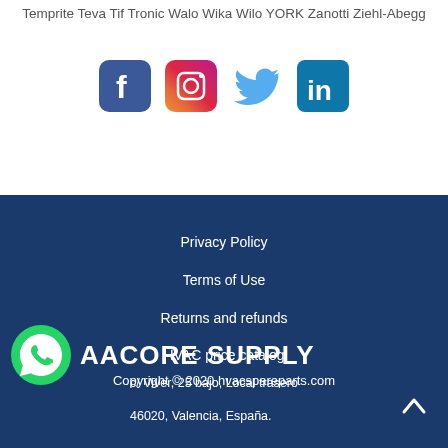Temprite Teva Tif Tronic Walo Wika Wilo YORK Zanotti Ziehl-Abegg
[Figure (other): Row of four social media icons: Facebook (blue rounded square), Instagram (gradient rounded square), Twitter (light blue bird), LinkedIn (teal rounded square with 'in')]
Privacy Policy
Terms of Use
Returns and refunds
HVAC price catalog
Copyright © 2020 hvacspareparts.com
AACORE SUPPLY
c/ Viver, 25 bajo, Local trasero
46020, Valencia, España.